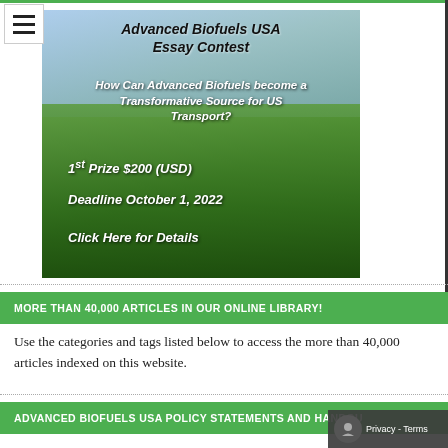[Figure (illustration): Advanced Biofuels USA Essay Contest banner image over a green leafy crop field background. Text overlay reads: 'Advanced Biofuels USA Essay Contest', 'How Can Advanced Biofuels become a Transformative Source for US Transport?', '1st Prize $200 (USD)', 'Deadline October 1, 2022', 'Click Here for Details']
MORE THAN 40,000 ARTICLES IN OUR ONLINE LIBRARY!
Use the categories and tags listed below to access the more than 40,000 articles indexed on this website.
ADVANCED BIOFUELS USA POLICY STATEMENTS AND HANDOU…